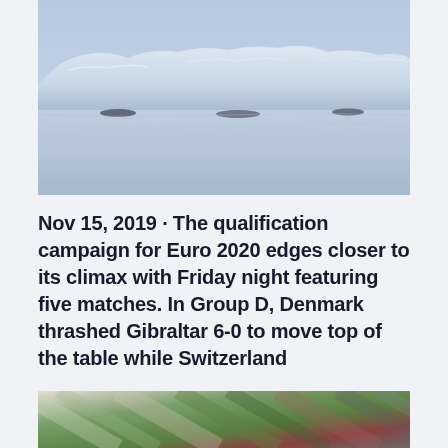[Figure (photo): A calm arctic or glacial landscape with ice formations reflected in still blue-grey water, misty blue sky]
Nov 15, 2019 · The qualification campaign for Euro 2020 edges closer to its climax with Friday night featuring five matches. In Group D, Denmark thrashed Gibraltar 6-0 to move top of the table while Switzerland
[Figure (photo): Aerial or close-up view of colorful geometric fields or fabric patterns with diagonal lines in green, pink, red, and grey]